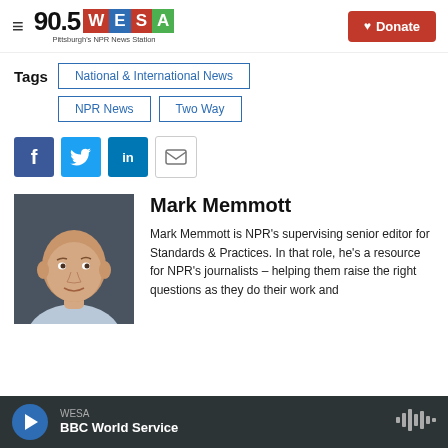90.5 WESA Pittsburgh's NPR News Station | Donate
Tags: National & International News
NPR News
Two Way
[Figure (other): Social sharing icons: Facebook, Twitter, LinkedIn, Email]
[Figure (photo): Headshot photo of Mark Memmott, a bald man in a light blue shirt against a dark gray background]
Mark Memmott
Mark Memmott is NPR's supervising senior editor for Standards & Practices. In that role, he's a resource for NPR's journalists – helping them raise the right questions as they do their work and...
WESA | BBC World Service